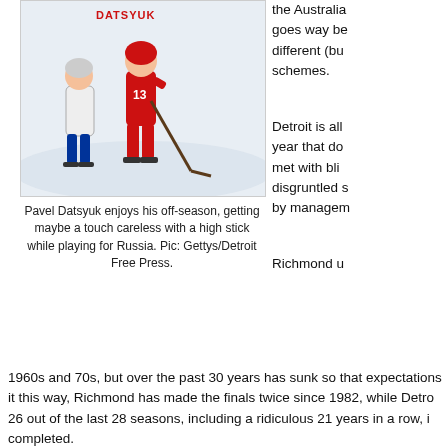[Figure (photo): Pavel Datsyuk wearing red Russia jersey number 13, playing hockey on ice, shown in action with a high stick near another player in white jersey.]
Pavel Datsyuk enjoys his off-season, getting maybe a touch careless with a high stick while playing for Russia. Pic: Gettys/Detroit Free Press.
the Australian... goes way be... different (bu... schemes.
Detroit is all ... year that do... met with bli... disgruntled s... by managem...
Richmond u... 1960s and 70s, but over the past 30 years has sunk so that expectations... it this way, Richmond has made the finals twice since 1982, while Detro... 26 out of the last 28 seasons, including a ridiculous 21 years in a row, i... completed.
Right now, all is quiet in Detroit, as a result of the Wings being uncharac... the first round of those 21st-straight play-offs by the uppity Predators; N... Wings by being hard and tough and skilful and uncompromising and ju... My guys looked slow and flat and out-psyched and out-muscled. Yes, I a... Weber's Ultimate Fighting head-slam of Hank Zetterberg but – deep bre...